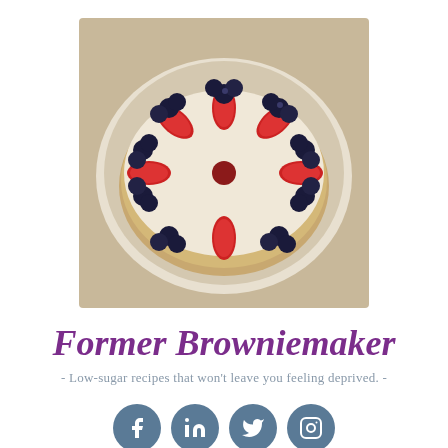[Figure (photo): A round cake or tart topped with blueberries and sliced strawberries arranged in a decorative pattern on a white cream surface, sitting on a plate.]
Former Browniemaker
- Low-sugar recipes that won't leave you feeling deprived. -
[Figure (infographic): Four circular social media icon buttons (Facebook, LinkedIn, Twitter, Instagram) in slate blue color.]
≡  MENU
[Figure (photo): Partial view of a food photograph at the bottom of the page, partially cut off.]